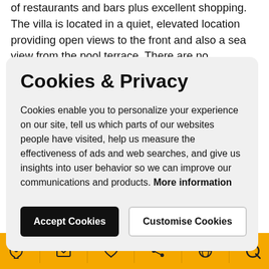of restaurants and bars plus excellent shopping. The villa is located in a quiet, elevated location providing open views to the front and also a sea view from the pool terrace. There are no properties behind this villa so it is not overlooked and feels
Cookies & Privacy
Cookies enable you to personalize your experience on our site, tell us which parts of our websites people have visited, help us measure the effectiveness of ads and web searches, and give us insights into user behavior so we can improve our communications and products. More information
Accept Cookies
Customise Cookies